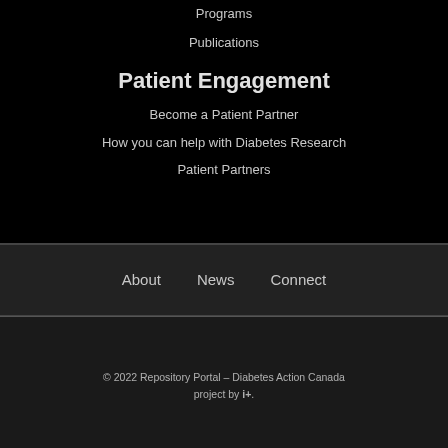Programs
Publications
Patient Engagement
Become a Patient Partner
How you can help with Diabetes Research
Patient Partners
About   News   Connect
© 2022 Repository Portal – Diabetes Action Canada project by i+.